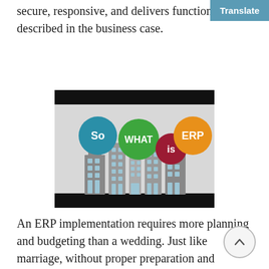secure, responsive, and delivers functionality described in the business case.
[Figure (infographic): Infographic with coloured circles reading 'So WHAT is ERP' above stylised city buildings silhouette on a grey background, with black bars at top and bottom.]
An ERP implementation requires more planning and budgeting than a wedding. Just like marriage, without proper preparation and planning, it often ends in